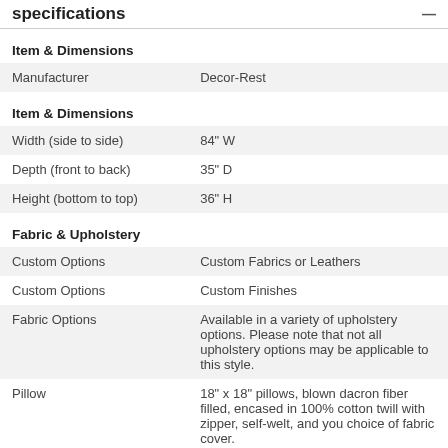specifications
| Item & Dimensions |  |
| Manufacturer | Decor-Rest |
| Item & Dimensions |  |
| Width (side to side) | 84" W |
| Depth (front to back) | 35" D |
| Height (bottom to top) | 36" H |
| Fabric & Upholstery |  |
| Custom Options | Custom Fabrics or Leathers |
| Custom Options | Custom Finishes |
| Fabric Options | Available in a variety of upholstery options. Please note that not all upholstery options may be applicable to this style. |
| Pillow | 18" x 18" pillows, blown dacron fiber filled, encased in 100% cotton twill with zipper, self-welt, and you choice of fabric cover. |